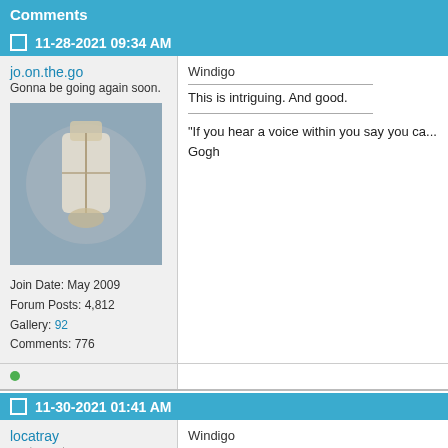Comments
11-28-2021 09:34 AM
jo.on.the.go
Gonna be going again soon.
Join Date: May 2009
Forum Posts: 4,812
Gallery: 92
Comments: 776
[Figure (photo): User avatar photo for jo.on.the.go showing an upside-down figure in white against a grey circular background]
Windigo
This is intriguing. And good.
"If you hear a voice within you say you ca... Gogh
11-30-2021 01:41 AM
locatray
postsecret.com
[Figure (photo): User avatar photo for locatray showing a stylized figure with books stacked on head]
Windigo
I really like this card.
"Art is too important not to share."
--Romero Britto